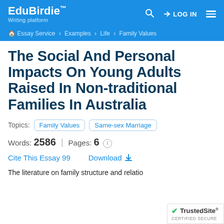EduBirdie™ Writing platform | LOG IN
Essay Service > Examples > Life > Family Values
The Social And Personal Impacts On Young Adults Raised In Non-traditional Families In Australia
Topics: Family Values  Same-sex Marriage
Words: 2586 | Pages: 6
Cite This Essay 99   Download
The literature on family structure and relatio